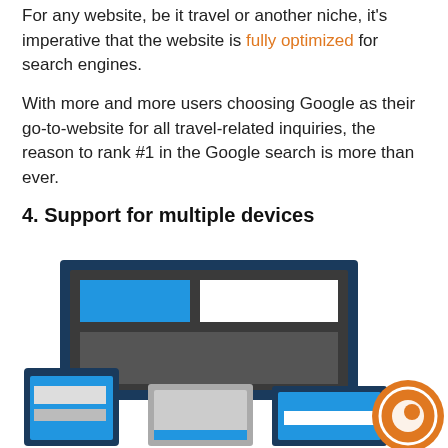For any website, be it travel or another niche, it's imperative that the website is fully optimized for search engines.
With more and more users choosing Google as their go-to-website for all travel-related inquiries, the reason to rank #1 in the Google search is more than ever.
4. Support for multiple devices
[Figure (illustration): Illustration of responsive design showing a desktop monitor, tablet, and mobile phone with colored blocks representing a website layout on each device. An orange circular logo/icon is visible in the bottom right corner.]